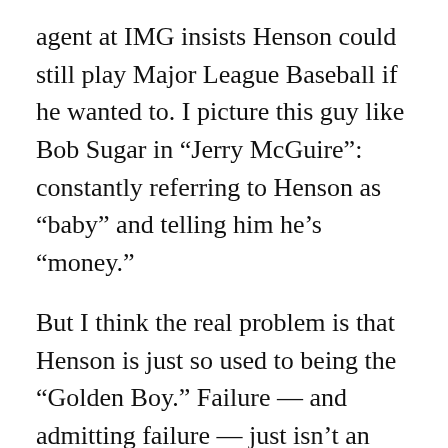agent at IMG insists Henson could still play Major League Baseball if he wanted to. I picture this guy like Bob Sugar in “Jerry McGuire”: constantly referring to Henson as “baby” and telling him he’s “money.”
But I think the real problem is that Henson is just so used to being the “Golden Boy.” Failure — and admitting failure — just isn’t an option. Want proof? According to a Michigan football player, Henson said he preferred playing on